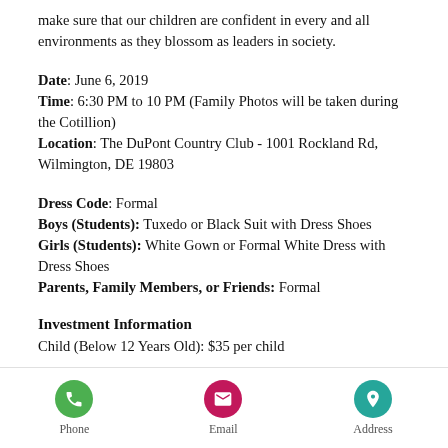make sure that our children are confident in every and all environments as they blossom as leaders in society.
Date: June 6, 2019
Time: 6:30 PM to 10 PM (Family Photos will be taken during the Cotillion)
Location: The DuPont Country Club - 1001 Rockland Rd, Wilmington, DE 19803
Dress Code: Formal
Boys (Students): Tuxedo or Black Suit with Dress Shoes
Girls (Students): White Gown or Formal White Dress with Dress Shoes
Parents, Family Members, or Friends: Formal
Investment Information
Child (Below 12 Years Old): $35 per child
Phone | Email | Address